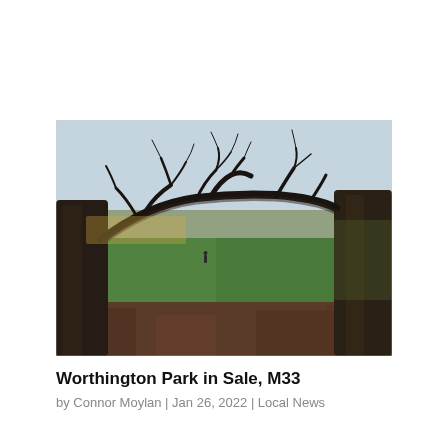[Figure (photo): Outdoor park scene showing two large bare trees in the foreground with gnarled branches stretching across the top, a wide green grass field in the middle, a small figure of a person walking in the distance, and a row of trees along the horizon under an overcast sky. The foreground ground is covered in fallen brown leaves.]
Worthington Park in Sale, M33
by Connor Moylan | Jan 26, 2022 | Local News